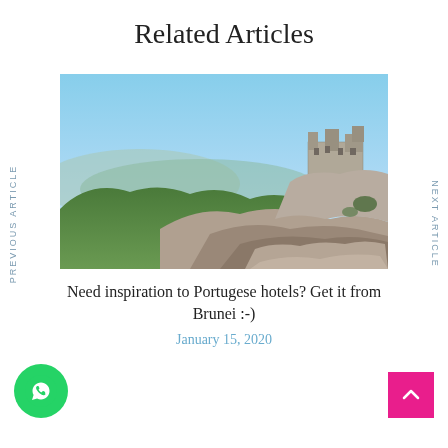Related Articles
[Figure (photo): Hilltop castle or fortress on rocky cliffs with green forested hills and blue sky in the background, likely in Portugal.]
Need inspiration to Portugese hotels? Get it from Brunei :-)
January 15, 2020